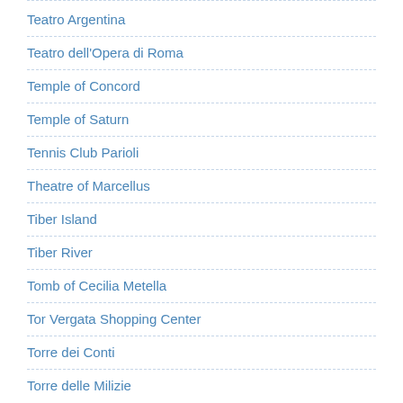Teatro Argentina
Teatro dell'Opera di Roma
Temple of Concord
Temple of Saturn
Tennis Club Parioli
Theatre of Marcellus
Tiber Island
Tiber River
Tomb of Cecilia Metella
Tor Vergata Shopping Center
Torre dei Conti
Torre delle Milizie